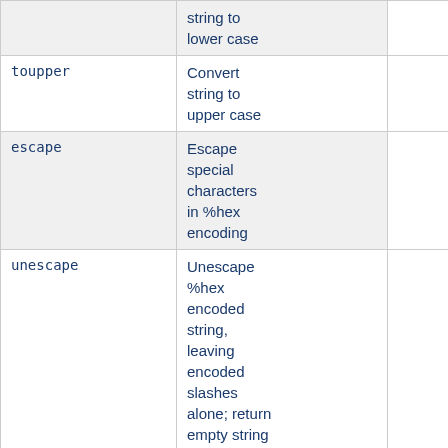| Function | Description |  |
| --- | --- | --- |
|  | string to lower case |  |
| toupper | Convert string to upper case |  |
| escape | Escape special characters in %hex encoding |  |
| unescape | Unescape %hex encoded string, leaving encoded slashes alone; return empty string if %00 is found |  |
| base64 | Encode the string using base64 |  |